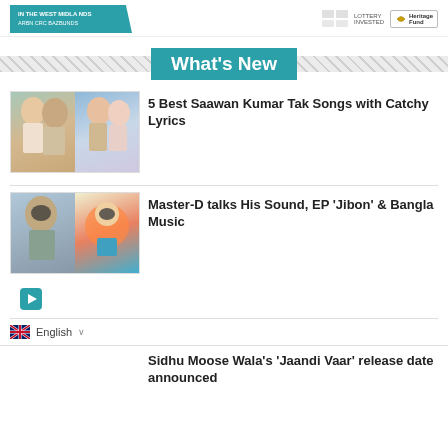IN THE WEST MIDLANDS ARBN CRC BAZBUNG
What's New
[Figure (photo): Two-panel photo: left shows two men, right shows a couple from a Bollywood film]
5 Best Saawan Kumar Tak Songs with Catchy Lyrics
[Figure (photo): Two-panel photo: left shows a man with sunglasses in floral shirt, right shows colorful illustration of musician]
Master-D talks His Sound, EP 'Jibon' & Bangla Music
English
Sidhu Moose Wala's 'Jaandi Vaar' release date announced